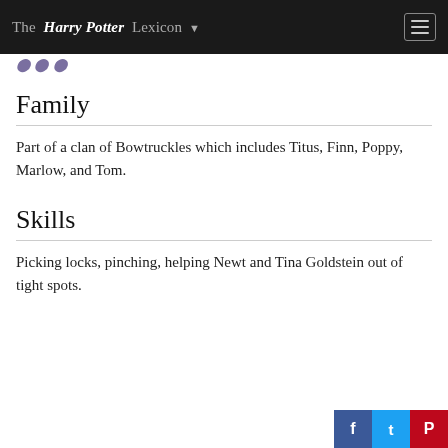The Harry Potter Lexicon
Family
Part of a clan of Bowtruckles which includes Titus, Finn, Poppy, Marlow, and Tom.
Skills
Picking locks, pinching, helping Newt and Tina Goldstein out of tight spots.